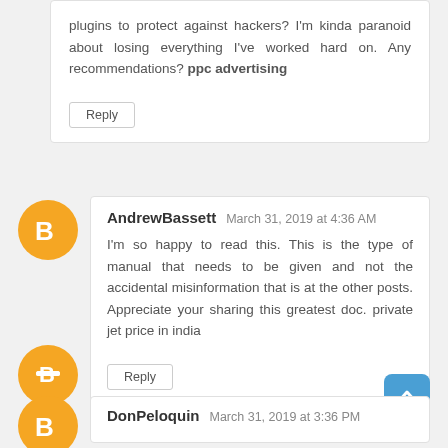plugins to protect against hackers? I'm kinda paranoid about losing everything I've worked hard on. Any recommendations? ppc advertising
Reply
AndrewBassett  March 31, 2019 at 4:36 AM
I'm so happy to read this. This is the type of manual that needs to be given and not the accidental misinformation that is at the other posts. Appreciate your sharing this greatest doc. private jet price in india
Reply
DonPeloquin  March 31, 2019 at 3:36 PM